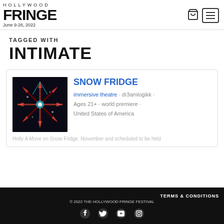HOLLYWOOD FRINGE June 9-26, 2022
TAGGED WITH INTIMATE
SNOW FRIDGE
immersive theatre · dr3amlogikk · Ages 21+ · world premiere · United States of America
TERMS & CONDITIONS © 2022 THE HOLLYWOOD FRINGE FESTIVAL